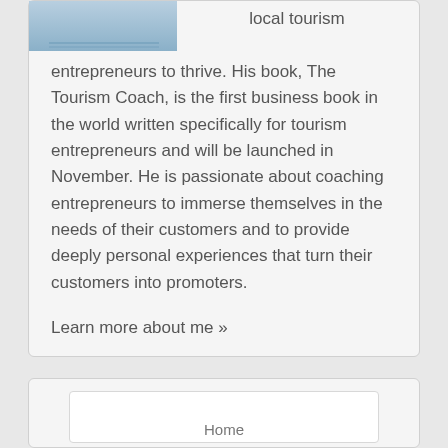[Figure (photo): Partial photo of a person wearing a blue shirt, cropped at top of page]
local tourism
entrepreneurs to thrive. His book, The Tourism Coach, is the first business book in the world written specifically for tourism entrepreneurs and will be launched in November. He is passionate about coaching entrepreneurs to immerse themselves in the needs of their customers and to provide deeply personal experiences that turn their customers into promoters.
Learn more about me »
Home